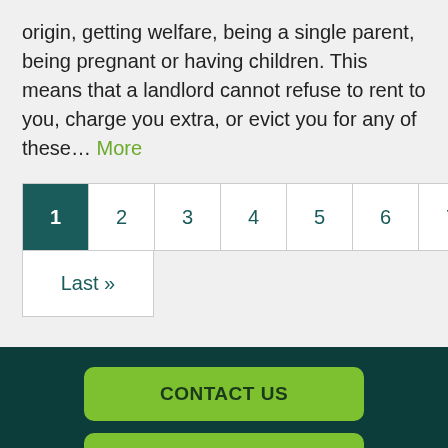origin, getting welfare, being a single parent, being pregnant or having children. This means that a landlord cannot refuse to rent to you, charge you extra, or evict you for any of these… More
1 2 3 4 5 6 7 8 Next › Last »
CONTACT US
SIGN UP FOR E-NEWSLETTER